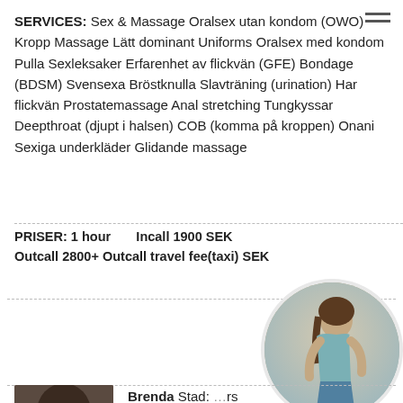SERVICES: Sex & Massage Oralsex utan kondom (OWO) Kropp Massage Lätt dominant Uniforms Oralsex med kondom Pulla Sexleksaker Erfarenhet av flickvän (GFE) Bondage (BDSM) Svensexa Bröstknulla Slavträning (urination) Har flickvän Prostatemassage Anal stretching Tungkyssar Deepthroat (djupt i halsen) COB (komma på kroppen) Onani Sexiga underkläder Glidande massage
PRISER: 1 hour   Incall 1900 SEK Outcall 2800+ Outcall travel fee(taxi) SEK
Prioritetsannons
[Figure (photo): Circular cropped photo of a woman in a light blue top and denim shorts, viewed from behind/side]
[Figure (photo): Partially visible photo of a woman with dark hair at bottom of page]
Brenda Stad: ...rs Inlagd: 20:20 20.08.2020